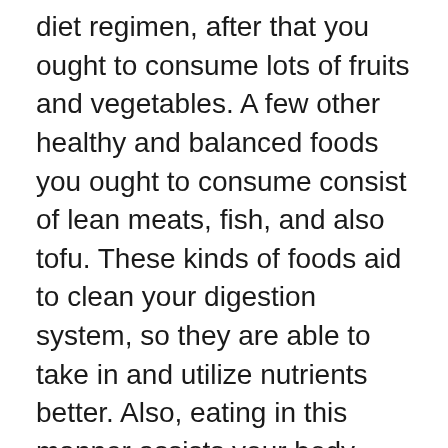diet regimen, after that you ought to consume lots of fruits and vegetables. A few other healthy and balanced foods you ought to consume consist of lean meats, fish, and also tofu. These kinds of foods aid to clean your digestion system, so they are able to take in and utilize nutrients better. Also, eating in this manner assists your body begins to melt fat much more successfully, because you are using less calories.
Once you begin to adhere to a high quality keto diet strategy, you'll notice an extreme enhancement in your energy degrees, which will certainly cause a rise in your general wellness. You may also see that you start to reduce weight extra conveniently and that you have much more endurance. Ultimately,